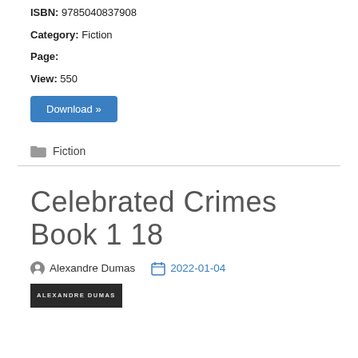ISBN: 9785040837908
Category: Fiction
Page:
View: 550
Download »
Fiction
Celebrated Crimes Book 1 18
Alexandre Dumas   2022-01-04
[Figure (other): Book cover image showing ALEXANDRE DUMAS text]